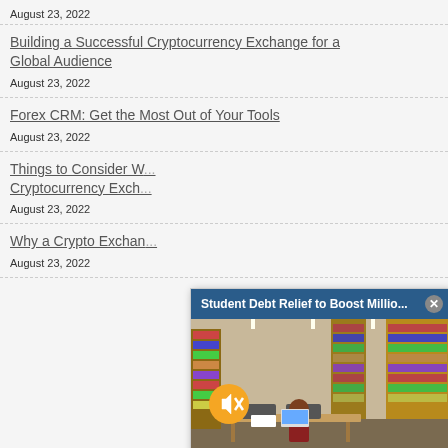August 23, 2022
Building a Successful Cryptocurrency Exchange for a Global Audience
August 23, 2022
Forex CRM: Get the Most Out of Your Tools
August 23, 2022
Things to Consider W... Cryptocurrency Exch...
August 23, 2022
Why a Crypto Exchan...
August 23, 2022
[Figure (screenshot): Video popup overlay showing 'Student Debt Relief to Boost Millio...' with a library image, mute button, and close button]